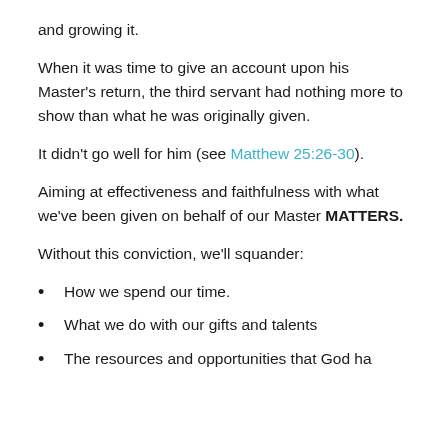and growing it.
When it was time to give an account upon his Master's return, the third servant had nothing more to show than what he was originally given.
It didn't go well for him (see Matthew 25:26-30).
Aiming at effectiveness and faithfulness with what we've been given on behalf of our Master MATTERS.
Without this conviction, we'll squander:
How we spend our time.
What we do with our gifts and talents
The resources and opportunities that God has given...